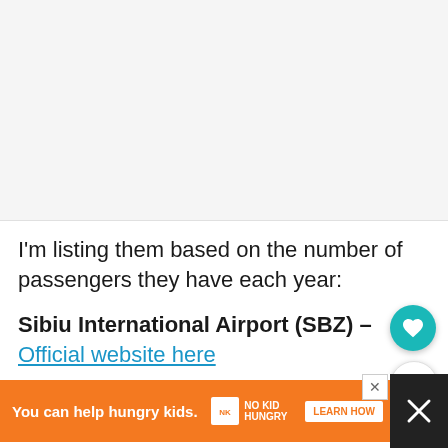[Figure (other): Blank light gray placeholder image area at top of page]
I'm listing them based on the number of passengers they have each year:
Sibiu International Airport (SBZ) – Official website here
[Figure (infographic): Orange advertisement banner: 'You can help hungry kids.' with No Kid Hungry logo and LEARN HOW button. Dark bar on right with X close button.]